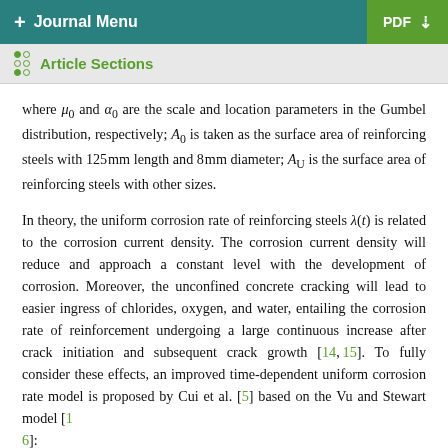+ Journal Menu | PDF
Article Sections
where μ₀ and α₀ are the scale and location parameters in the Gumbel distribution, respectively; A₀ is taken as the surface area of reinforcing steels with 125 mm length and 8 mm diameter; A_U is the surface area of reinforcing steels with other sizes.
In theory, the uniform corrosion rate of reinforcing steels λ(t) is related to the corrosion current density. The corrosion current density will reduce and approach a constant level with the development of corrosion. Moreover, the unconfined concrete cracking will lead to easier ingress of chlorides, oxygen, and water, entailing the corrosion rate of reinforcement undergoing a large continuous increase after crack initiation and subsequent crack growth [14, 15]. To fully consider these effects, an improved time-dependent uniform corrosion rate model is proposed by Cui et al. [5] based on the Vu and Stewart model [16]: